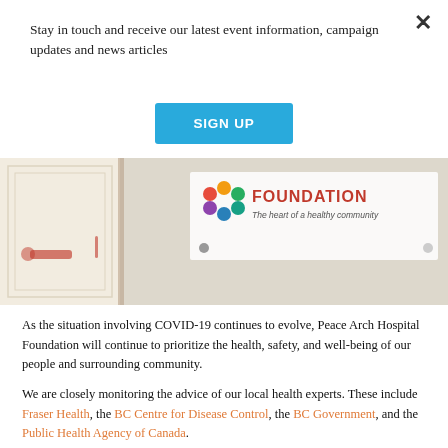Stay in touch and receive our latest event information, campaign updates and news articles
[Figure (other): Blue 'SIGN UP' button]
[Figure (photo): Photo of a door with a Foundation sign reading 'FOUNDATION - The heart of a healthy community' with a colorful dots logo]
As the situation involving COVID-19 continues to evolve, Peace Arch Hospital Foundation will continue to prioritize the health, safety, and well-being of our people and surrounding community.
We are closely monitoring the advice of our local health experts. These include Fraser Health, the BC Centre for Disease Control, the BC Government, and the Public Health Agency of Canada.